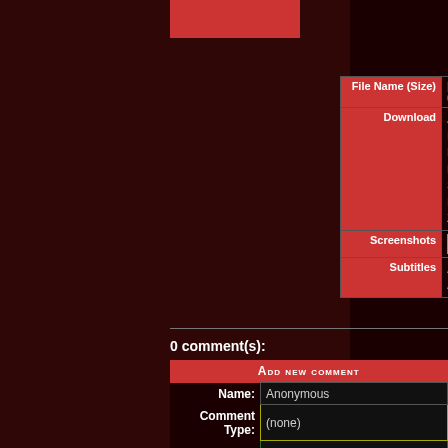| Field | Value |
| --- | --- |
| File Name (Size) | [Erai-raws] Houkago Teibou... 09 [1080p].mkv (1.337 GB) |
| Download | AnonFiles | ClickNUpload | DropAPK
Free: Part1, Part2
MultiUp: Part1 ▼, Part2 ▼, ...
Sendspace: Part1, Part2, Par... Part5
ZippyShare: Part1, Part2, Pa... |
| Screenshots | more » |
| Subtitles | All Attachments | English(U... ASS] |
0 comment(s):
| ADD NEW COMMENT |
| --- |
| Name: | Anonymous |
| Comment Type: | (none) |
| Message: |  |